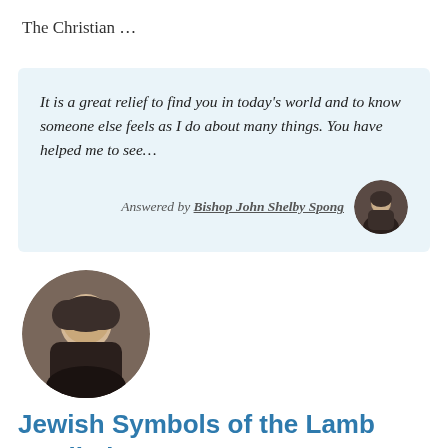The Christian …
It is a great relief to find you in today's world and to know someone else feels as I do about many things. You have helped me to see…
Answered by Bishop John Shelby Spong
[Figure (photo): Circular portrait photo of Bishop John Shelby Spong, an older man in dark clothing]
Jewish Symbols of the Lamb Applied to Jesus